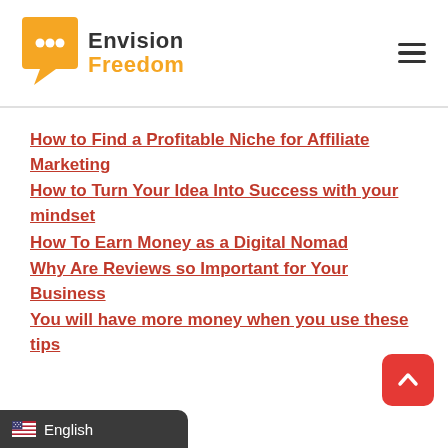Envision Freedom
How to Find a Profitable Niche for Affiliate Marketing
How to Turn Your Idea Into Success with your mindset
How To Earn Money as a Digital Nomad
Why Are Reviews so Important for Your Business
You will have more money when you use these tips
English